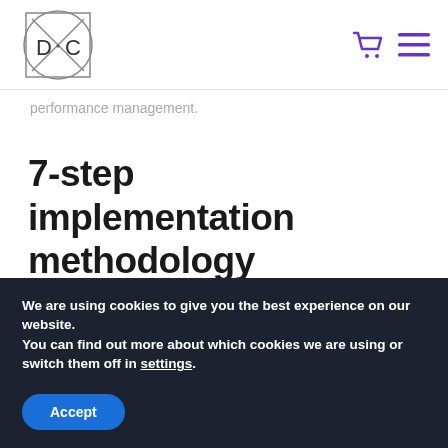[Figure (logo): DXC logo: a circle with X and D C letters inside a square border]
performance management.
7-step implementation methodology
Data management (performance) can be measured at
We are using cookies to give you the best experience on our website.
You can find out more about which cookies we are using or switch them off in settings.
Accept